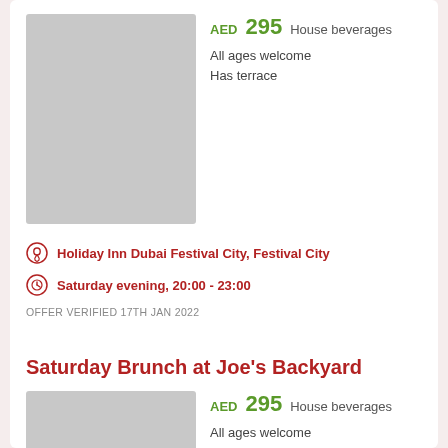[Figure (photo): Gray placeholder image for brunch venue]
AED 295  House beverages
All ages welcome
Has terrace
Holiday Inn Dubai Festival City, Festival City
Saturday evening, 20:00 - 23:00
OFFER VERIFIED 17TH JAN 2022
Saturday Brunch at Joe's Backyard
[Figure (photo): Gray placeholder image for Joe's Backyard brunch venue]
AED 295  House beverages
All ages welcome
Has terrace